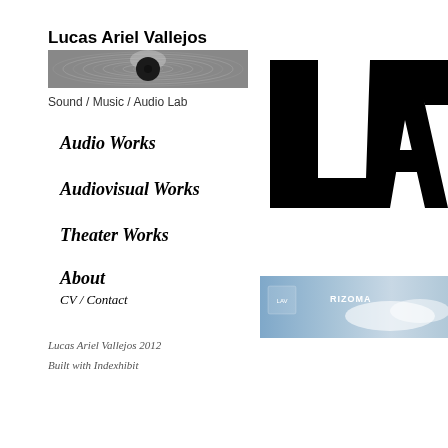Lucas Ariel Vallejos
[Figure (photo): Horizontal banner image of a vinyl record showing concentric grooves with a dark center, grayscale]
Sound / Music / Audio Lab
Audio Works
Audiovisual Works
Theater Works
About
CV / Contact
[Figure (logo): Large black bold letter 'LA' logo design, partially cropped on right side]
[Figure (photo): Horizontal banner image with sky/clouds and small logos including RIZOMA text]
Lucas Ariel Vallejos 2012
Built with Indexhibit